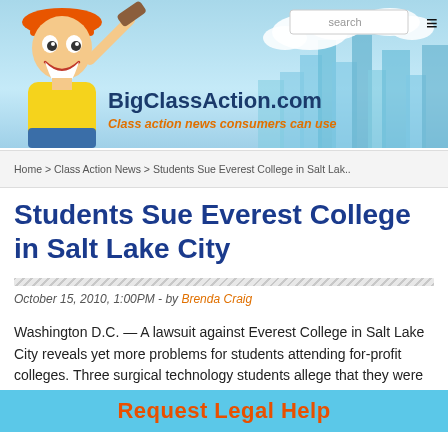[Figure (illustration): BigClassAction.com website header banner with cartoon mascot (construction worker holding gavel), cityscape silhouette background, site logo text and tagline, search box, and hamburger menu icon]
Home > Class Action News > Students Sue Everest College in Salt Lak..
Students Sue Everest College in Salt Lake City
October 15, 2010, 1:00PM - by Brenda Craig
Washington D.C. — A lawsuit against Everest College in Salt Lake City reveals yet more problems for students attending for-profit colleges. Three surgical technology students allege that they were misled abou                              credits and the cost of th
Request Legal Help